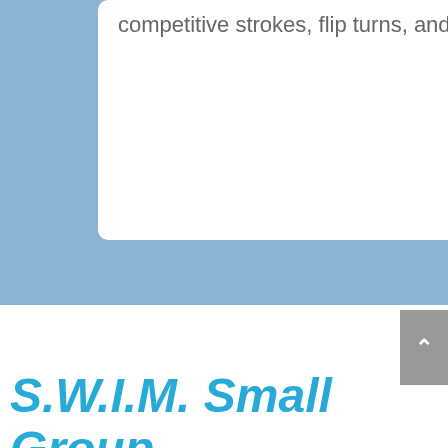competitive strokes, flip turns, and FUN!
S.W.I.M. Small Group